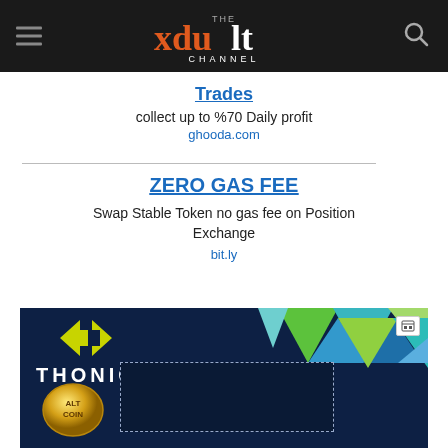THE xdult CHANNEL
Trades
collect up to %70 Daily profit
ghooda.com
ZERO GAS FEE
Swap Stable Token no gas fee on Position Exchange
bit.ly
[Figure (photo): THONIC advertisement banner with dark blue background, colorful triangles, AltCoin gold coin, dotted rectangle placeholder, and THONIC logo text]